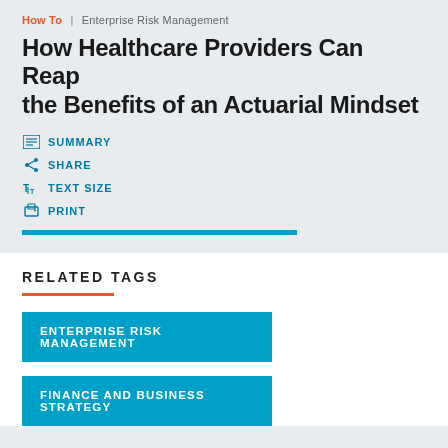How To | Enterprise Risk Management
How Healthcare Providers Can Reap the Benefits of an Actuarial Mindset
SUMMARY
SHARE
TEXT SIZE
PRINT
RELATED TAGS
ENTERPRISE RISK MANAGEMENT
FINANCE AND BUSINESS STRATEGY